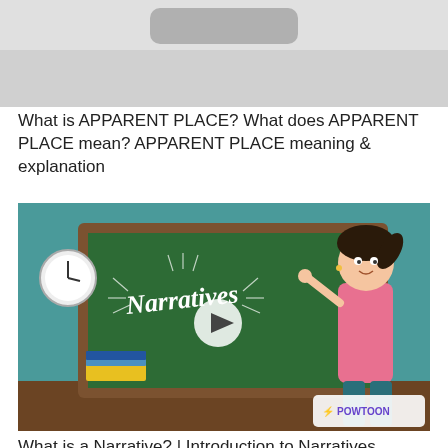[Figure (screenshot): Gray video thumbnail showing a rounded rectangle UI element at the top center, on a light gray background — cropped video player interface.]
What is APPARENT PLACE? What does APPARENT PLACE mean? APPARENT PLACE meaning & explanation
[Figure (screenshot): Animated educational video thumbnail showing a cartoon girl pointing at a chalkboard that reads 'Narratives' in stylized text, with a play button overlay. A clock and stack of books are visible. 'Created using Powtoon' logo in the bottom right corner. Teal classroom background.]
What is a Narrative? | Introduction to Narratives